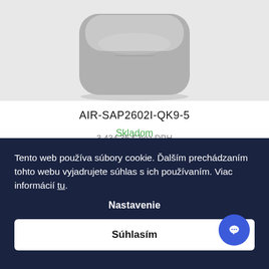[Figure (photo): Product photo of a rounded square Cisco wireless access point device in grey color, centered on a light grey background.]
AIR-SAP2602I-QK9-5
Skladom
Tento web používa súbory cookie. Ďalším prechádzaním tohto webu vyjadrujete súhlas s ich používaním. Viac informácií tu.
Nastavenie
Súhlasím